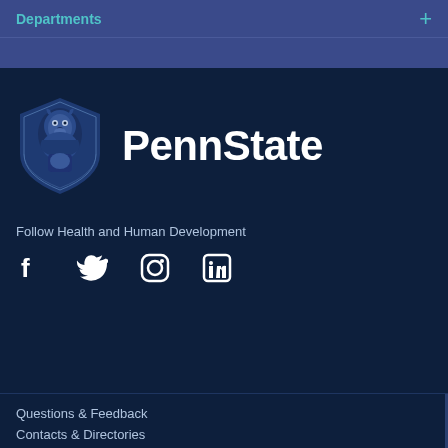Departments
[Figure (logo): Penn State shield logo with lion and PennState wordmark in white on dark navy background]
Follow Health and Human Development
[Figure (infographic): Social media icons: Facebook, Twitter, Instagram, LinkedIn]
Questions & Feedback
Contacts & Directories